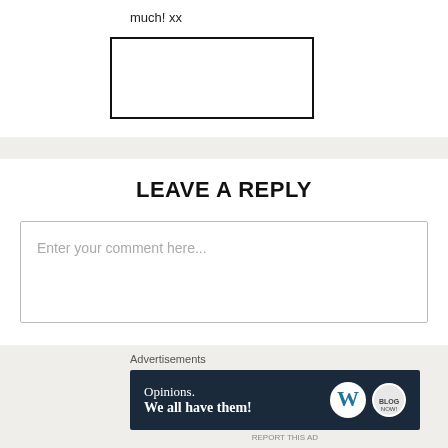much! xx
[Figure (other): Empty rectangular image placeholder with black border]
LEAVE A REPLY
Enter your comment here...
Advertisements
[Figure (other): Advertisement banner with dark navy background. Text: 'Opinions. We all have them!' with WordPress logo and a second circular logo on the right.]